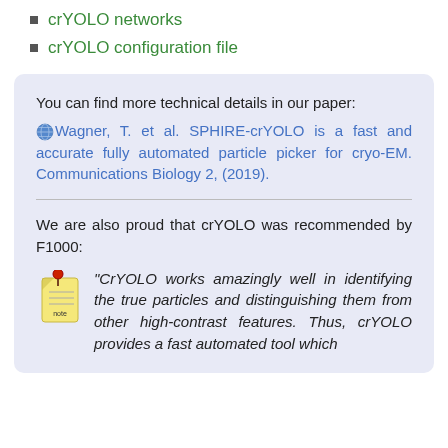crYOLO networks
crYOLO configuration file
You can find more technical details in our paper:
Wagner, T. et al. SPHIRE-crYOLO is a fast and accurate fully automated particle picker for cryo-EM. Communications Biology 2, (2019).
We are also proud that crYOLO was recommended by F1000:
“CrYOLO works amazingly well in identifying the true particles and distinguishing them from other high-contrast features. Thus, crYOLO provides a fast automated tool which